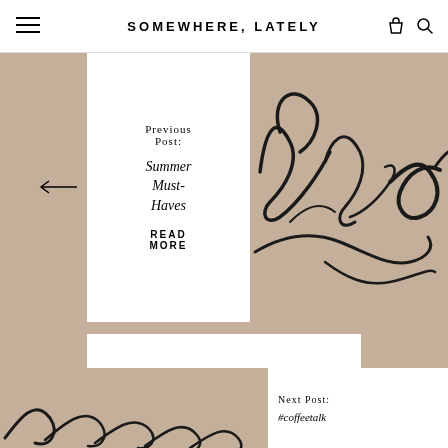SOMEWHERE, LATELY
Previous Post:
Summer Must-Haves
READ MORE
[Figure (illustration): Handwritten cursive signature in black ink on light background]
BACK TO ALL
[Figure (illustration): Handwritten cursive signature in black ink, bottom portion visible]
Next Post:
#coffeetalk